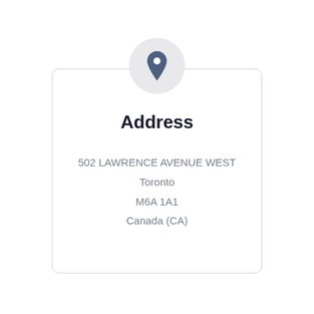[Figure (illustration): A circular grey icon containing a dark blue-grey location pin/map marker SVG symbol, centered at the top of the card.]
Address
502 LAWRENCE AVENUE WEST
Toronto
M6A 1A1
Canada (CA)